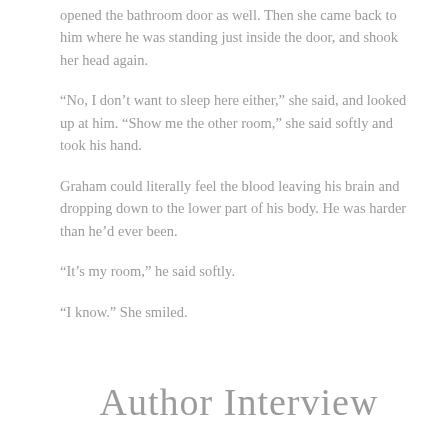opened the bathroom door as well. Then she came back to him where he was standing just inside the door, and shook her head again.
“No, I don’t want to sleep here either,” she said, and looked up at him. “Show me the other room,” she said softly and took his hand.
Graham could literally feel the blood leaving his brain and dropping down to the lower part of his body. He was harder than he’d ever been.
“It’s my room,” he said softly.
“I know.” She smiled.
[Figure (illustration): Decorative cursive script text reading 'Author Interview']